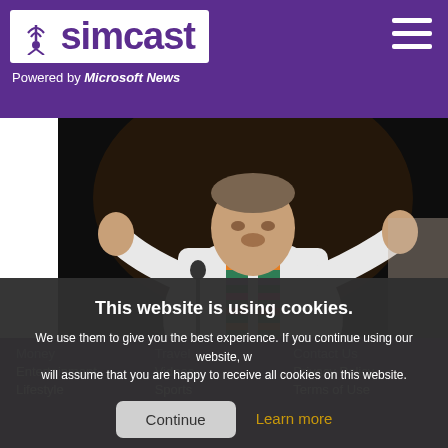simcast — Powered by Microsoft News
[Figure (photo): A clergyman in white robes and colorful striped stole gesturing with both hands raised, performing a sermon or speech on stage]
For United Methodists, the center is not holding
This website is using cookies. We use them to give you the best experience. If you continue using our website, we will assume that you are happy to receive all cookies on this website.
Continue
Learn more
Money   Travel   Contact Us
Entertainment   Videos   Privacy Policy
Lifestyle   Sports   Terms of Use